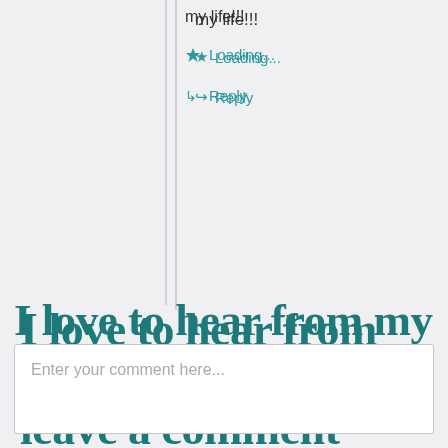my life!!!
★ Loading...
↳ Reply
I love to hear from my readers....please leave a comment
Enter your comment here...